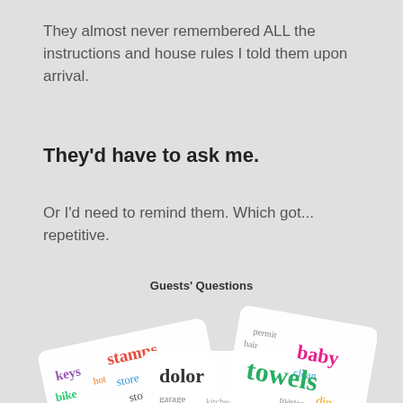They almost never remembered ALL the instructions and house rules I told them upon arrival.
They'd have to ask me.
Or I'd need to remind them. Which got... repetitive.
Guests' Questions
[Figure (illustration): Word cloud on overlapping paper cards showing guest-related words: hair, stamps, store, baby, clean, towels, permit, hot, bike, toaster, dolor, keys, stove, garage, cake, afrain, and other words in various colors (yellow, teal, pink, dark, blue, green)]